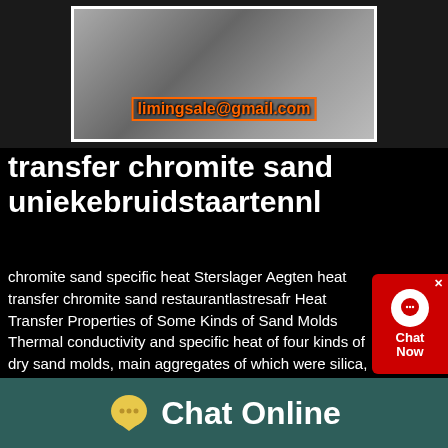[Figure (photo): Industrial machinery/equipment photo with email address limingsale@gmail.com overlaid in orange text with border]
transfer chromite sand uniekebruidstaartennl
chromite sand specific heat Sterslager Aegten heat transfer chromite sand restaurantlastresafr Heat Transfer Properties of Some Kinds of Sand Molds Thermal conductivity and specific heat of four kinds of dry sand molds, main aggregates of which were silica, olivine, zircon and chromite sands, were measured from room temperature to about29112020· Heat Transfer Chromite Sand ecohabfr Heat Transfer
[Figure (other): Red chat widget button with headphone icon, showing Chat Now text]
[Figure (other): Teal footer bar with yellow speech bubble icon and Chat Online text in white]